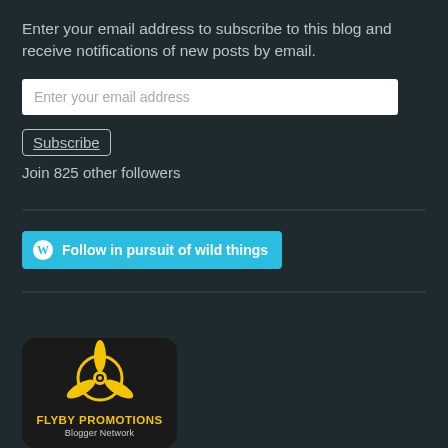Enter your email address to subscribe to this blog and receive notifications of new posts by email.
Enter your email address
Subscribe
Join 825 other followers
[Figure (other): WordPress Follow button — cyan rounded rectangle with WordPress logo icon and text 'Follow in pursuit of wild things']
[Figure (logo): Flyby Promotions Blogger Network logo — dark rounded square with yellow propeller/aircraft icon and text 'FLYBY PROMOTIONS Blogger Network']